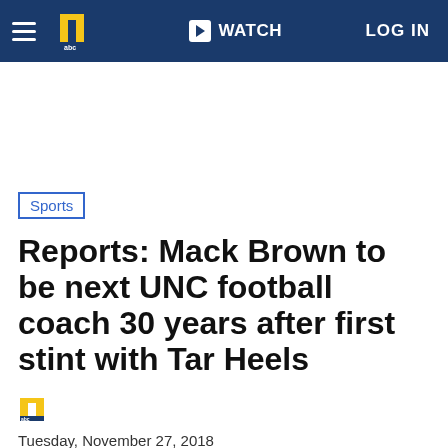WATCH | LOG IN
Sports
Reports: Mack Brown to be next UNC football coach 30 years after first stint with Tar Heels
Tuesday, November 27, 2018